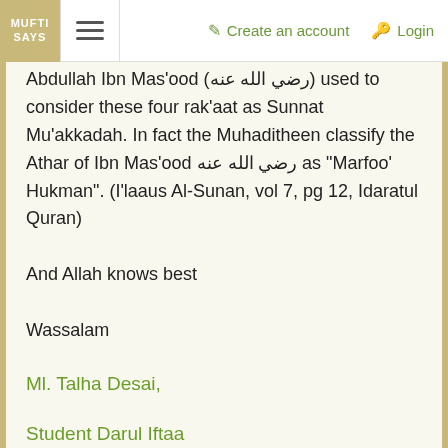MUFTI SAYS | Create an account | Login
Abdullah Ibn Mas'ood (رضي الله عنه) used to consider these four rak'aat as Sunnat Mu'akkadah. In fact the Muhaditheen classify the Athar of Ibn Mas'ood رضي الله عنه as "Marfoo' Hukman". (I'laaus Al-Sunan, vol 7, pg 12, Idaratul Quran)
And Allah knows best
Wassalam
Ml. Talha Desai,
Student Darul Iftaa
Checked and Approved by